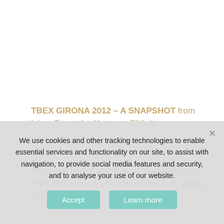TBEX GIRONA 2012 – A SNAPSHOT from Ishay Govender-Ypma on Slide.ly.
I travelled from Cape Town to Barcelona, via Paris last week, a 27 hour journey (with delays, sadly the nature of
We use cookies and other tracking technologies to enable essential services and functionality on our site, to assist with navigation, to provide social media features and security, and to analyse your use of our website.